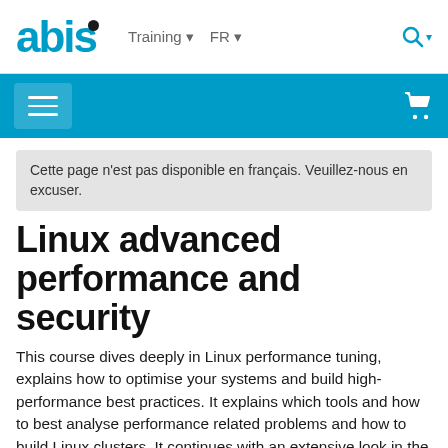abis  Training  FR
Cette page n'est pas disponible en français. Veuillez-nous en excuser.
Linux advanced performance and security
This course dives deeply in Linux performance tuning, explains how to optimise your systems and build high-performance best practices. It explains which tools and how to best analyse performance related problems and how to build Linux clusters. It continues with an extensive look in the most important security tools and methods to harden your Linux infrastructure.